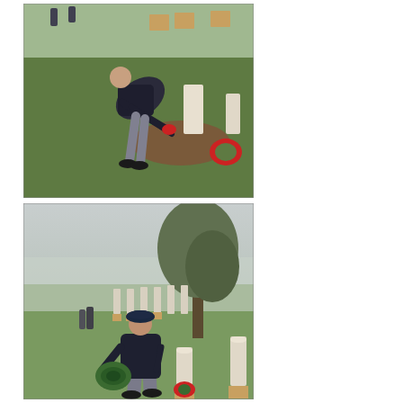[Figure (photo): A person bending over to place a wreath or flowers at a military grave marker in a cemetery. Red wreaths are visible nearby. The cemetery has green grass and multiple white headstones in the background.]
[Figure (photo): A person in a dark jacket and beret carrying a wreath walks among military grave markers in a foggy cemetery. Rows of white headstones and a large tree are visible in the misty background. Wreaths have been placed at several markers.]